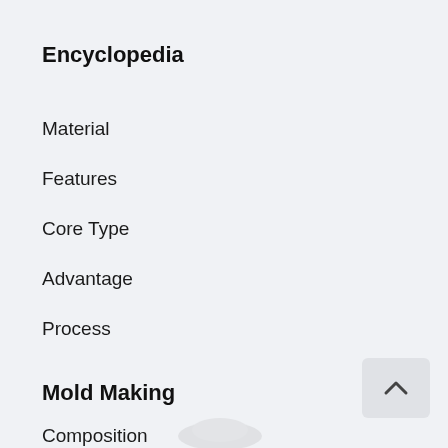Encyclopedia
Material
Features
Core Type
Advantage
Process
Mold Making
Composition
Basic Points